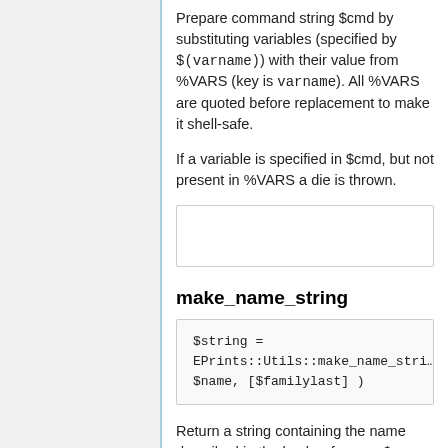Prepare command string $cmd by substituting variables (specified by $(varname)) with their value from %VARS (key is varname). All %VARS are quoted before replacement to make it shell-safe.
If a variable is specified in $cmd, but not present in %VARS a die is thrown.
[Figure (other): Empty bordered box]
make_name_string
Return a string containing the name described in the hash reference $name.